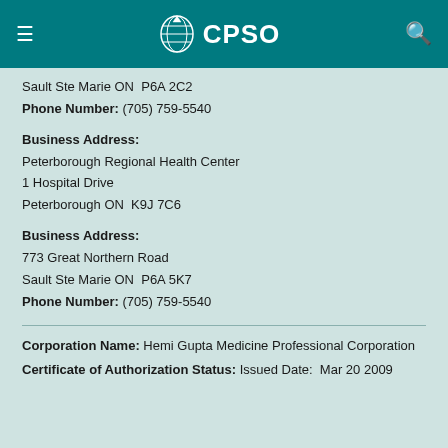CPSO
Sault Ste Marie ON  P6A 2C2
Phone Number: (705) 759-5540
Business Address:
Peterborough Regional Health Center
1 Hospital Drive
Peterborough ON  K9J 7C6
Business Address:
773 Great Northern Road
Sault Ste Marie ON  P6A 5K7
Phone Number: (705) 759-5540
Corporation Name: Hemi Gupta Medicine Professional Corporation
Certificate of Authorization Status: Issued Date:  Mar 20 2009